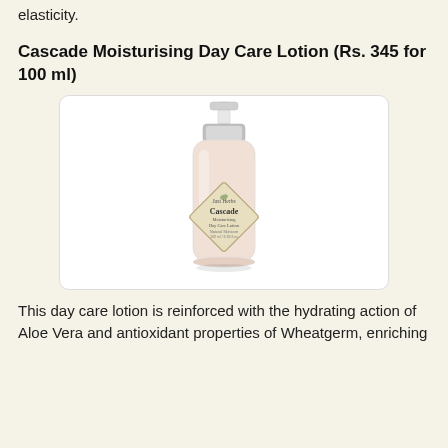elasticity.
Cascade Moisturising Day Care Lotion (Rs. 345 for 100 ml)
[Figure (photo): Product photo of Just Herbs Cascade Moisturising Day Care Lotion bottle with pump dispenser and diamond-shaped label, shown against white background inside a rounded rectangle box.]
This day care lotion is reinforced with the hydrating action of Aloe Vera and antioxidant properties of Wheatgerm, enriching